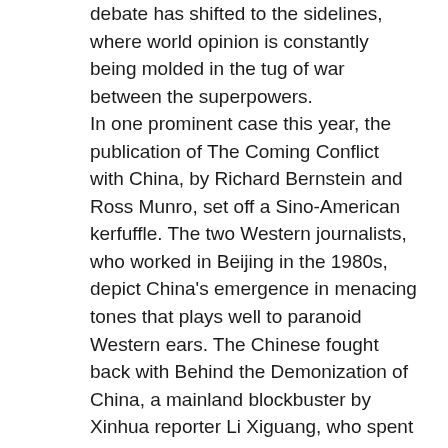debate has shifted to the sidelines, where world opinion is constantly being molded in the tug of war between the superpowers. In one prominent case this year, the publication of The Coming Conflict with China, by Richard Bernstein and Ross Munro, set off a Sino-American kerfuffle. The two Western journalists, who worked in Beijing in the 1980s, depict China's emergence in menacing tones that plays well to paranoid Western ears. The Chinese fought back with Behind the Demonization of China, a mainland blockbuster by Xinhua reporter Li Xiguang, who spent six months at The Washington Post. His book details an alleged campaign among American media to muddy China's image.